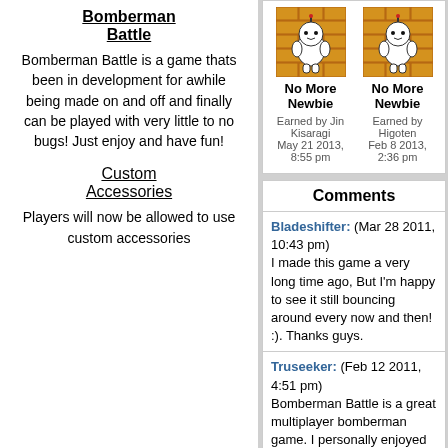Bomberman Battle
Bomberman Battle is a game thats been in development for awhile being made on and off and finally can be played with very little to no bugs! Just enjoy and have fun!
Custom Accessories
Players will now be allowed to use custom accessories
[Figure (illustration): Two 'No More Newbie' badges showing a Bomberman character in front of a brick wall. First earned by Jin Kisaragi on May 21 2013, 8:55 pm. Second earned by Higoten on Feb 8 2013, 2:36 pm.]
Comments
Bladeshifter: (Mar 28 2011, 10:43 pm) I made this game a very long time ago, But I'm happy to see it still bouncing around every now and then! :). Thanks guys.
Truseeker: (Feb 12 2011, 4:51 pm) Bomberman Battle is a great multiplayer bomberman game. I personally enjoyed the SNES title "Super Bomberman", it's nice to play something simular with online play.
Hollow_Hitsu: (Oct 10 2009, 10:49 am) Dis game r win.
[See all]